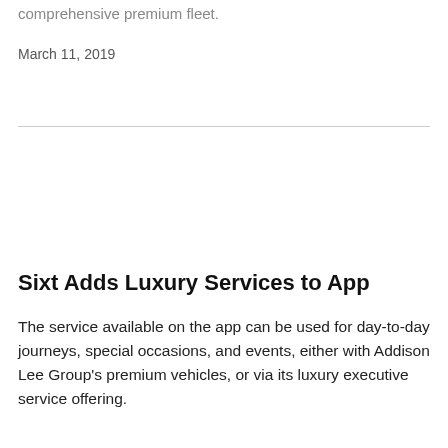comprehensive premium fleet.
March 11, 2019
Sixt Adds Luxury Services to App
The service available on the app can be used for day-to-day journeys, special occasions, and events, either with Addison Lee Group's premium vehicles, or via its luxury executive service offering.